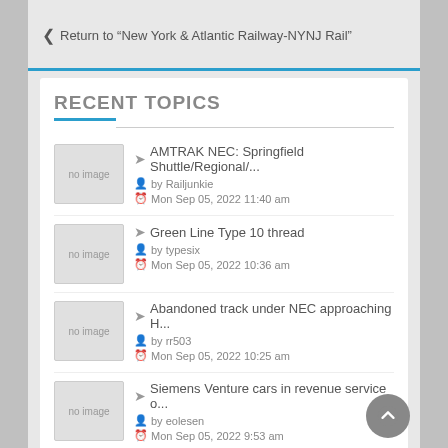← Return to "New York & Atlantic Railway-NYNJ Rail"
RECENT TOPICS
AMTRAK NEC: Springfield Shuttle/Regional/... by Railjunkie · Mon Sep 05, 2022 11:40 am
Green Line Type 10 thread by typesix · Mon Sep 05, 2022 10:36 am
Abandoned track under NEC approaching H... by rr503 · Mon Sep 05, 2022 10:25 am
Siemens Venture cars in revenue service o... by eolesen · Mon Sep 05, 2022 9:53 am
CSX to acquire Pan Am Railways